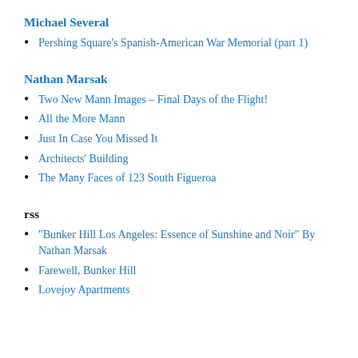Michael Several
Pershing Square's Spanish-American War Memorial (part 1)
Nathan Marsak
Two New Mann Images – Final Days of the Flight!
All the More Mann
Just In Case You Missed It
Architects' Building
The Many Faces of 123 South Figueroa
rss
“Bunker Hill Los Angeles: Essence of Sunshine and Noir” By Nathan Marsak
Farewell, Bunker Hill
Lovejoy Apartments